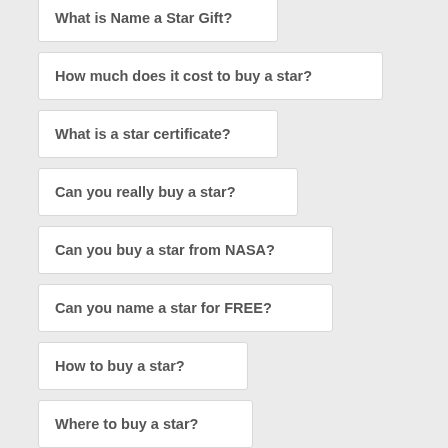What is Name a Star Gift?
How much does it cost to buy a star?
What is a star certificate?
Can you really buy a star?
Can you buy a star from NASA?
Can you name a star for FREE?
How to buy a star?
Where to buy a star?
Can you name a star with IAU?